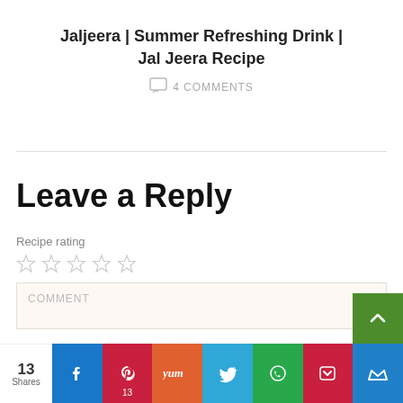Jaljeera | Summer Refreshing Drink | Jal Jeera Recipe
4 COMMENTS
Leave a Reply
Recipe rating
★ ★ ★ ★ ★ (empty stars)
COMMENT
13 Shares | Facebook | Pinterest 13 | Yummly | Twitter | WhatsApp | Pocket | Bloglovin